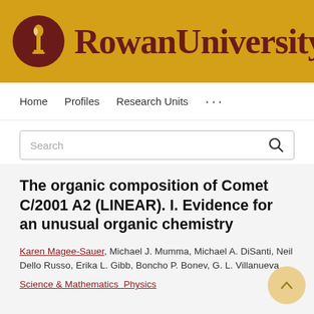[Figure (logo): Rowan University logo: dark red circle with torch icon, followed by 'Rowan University' text in dark red serif font on gold/yellow background]
Home   Profiles   Research Units   ...
Search
The organic composition of Comet C/2001 A2 (LINEAR). I. Evidence for an unusual organic chemistry
Karen Magee-Sauer, Michael J. Mumma, Michael A. DiSanti, Neil Dello Russo, Erika L. Gibb, Boncho P. Bonev, G. L. Villanueva
Science & Mathematics   Physics